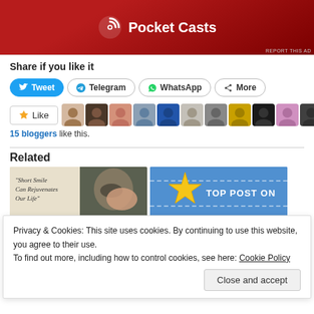[Figure (illustration): Pocket Casts app advertisement banner with dark red background and white Pocket Casts logo with text]
REPORT THIS AD
Share if you like it
[Figure (screenshot): Share buttons row: Tweet (blue), Telegram, WhatsApp, More]
[Figure (screenshot): Like button with star icon and row of blogger avatar thumbnails]
15 bloggers like this.
Related
[Figure (screenshot): Related articles thumbnails: Short Smile Can Rejuvenates... with photo and Top Post On banner with star]
Privacy & Cookies: This site uses cookies. By continuing to use this website, you agree to their use.
To find out more, including how to control cookies, see here: Cookie Policy
Close and accept